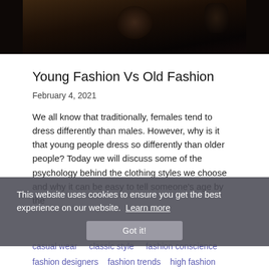[Figure (photo): Dark photograph of people at a fashion event, mostly dark background with figures visible]
Young Fashion Vs Old Fashion
February 4, 2021
We all know that traditionally, females tend to dress differently than males. However, why is it that young people dress so differently than older people? Today we will discuss some of the psychology behind the clothing styles we choose and why it can be easy to tell someone's age by the
This website uses cookies to ensure you get the best experience on our website. Learn more
casual wear   classic style   fashion conscience
fashion designers   fashion trends   high fashion
high heels   men's footwear   men's heels